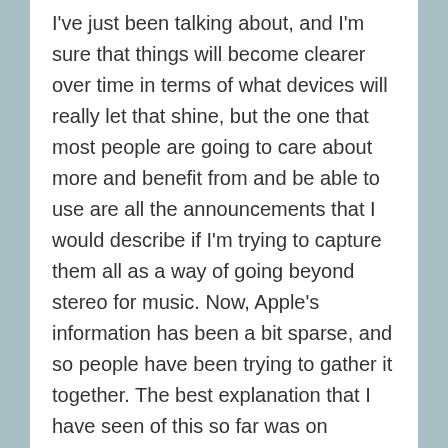I've just been talking about, and I'm sure that things will become clearer over time in terms of what devices will really let that shine, but the one that most people are going to care about more and benefit from and be able to use are all the announcements that I would describe if I'm trying to capture them all as a way of going beyond stereo for music. Now, Apple's information has been a bit sparse, and so people have been trying to gather it together. The best explanation that I have seen of this so far was on AppleInsider. I'll refer to that article as we try and unpack this for you.
Dolby Atmos is something that we have talked about on the show before in the context of